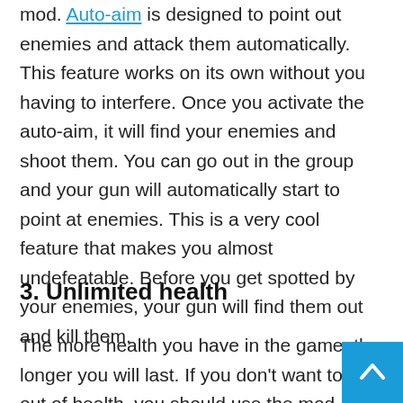mod. Auto-aim is designed to point out enemies and attack them automatically. This feature works on its own without you having to interfere. Once you activate the auto-aim, it will find your enemies and shoot them. You can go out in the group and your gun will automatically start to point at enemies. This is a very cool feature that makes you almost undefeatable. Before you get spotted by your enemies, your gun will find them out and kill them.
3. Unlimited health
The more health you have in the game, the longer you will last. If you don't want to run out of health, you should use the mod version of the game. That's because it gives you unlimited health and thus, enables you to fight any